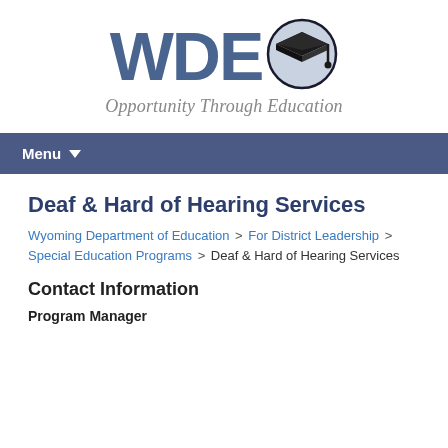[Figure (logo): WDE logo with graduation cap icon and tagline 'Opportunity Through Education']
Menu
Deaf & Hard of Hearing Services
Wyoming Department of Education > For District Leadership > Special Education Programs > Deaf & Hard of Hearing Services
Contact Information
Program Manager